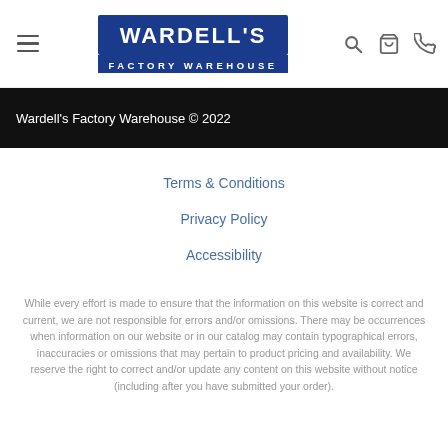Wardell's Factory Warehouse — navigation header with logo, hamburger menu, search, cart, and phone icons
Wardell's Factory Warehouse © 2022
Terms & Conditions
Privacy Policy
Accessibility
While every effort is made to ensure that the information on this website is correct and current, we are not responsible for errors and/or omissions. There may be occurrences when information on our website or in our catalog may contain typographical errors, inaccuracies or omissions that may pertain to product pricing and availability. We reserve the right to correct and/or update any content on this website without notice (including after you have submitted your order).